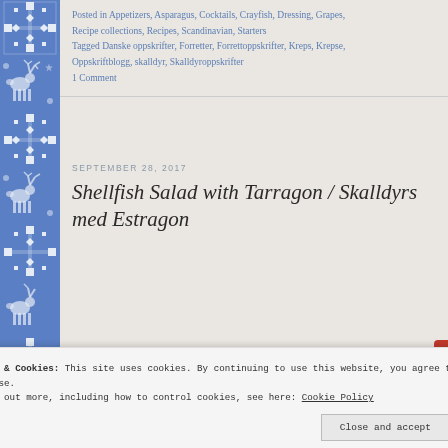Posted in Appetizers, Asparagus, Cocktails, Crayfish, Dressing, Grapes, Recipe collections, Recipes, Scandinavian, Starters
Tagged Danske oppskrifter, Forretter, Forrettoppskrifter, Kreps, Krepse, Oppskriftblogg, skalldyr, Skalldyroppskrifter
1 Comment
SEPTEMBER 28, 2017
Shellfish Salad with Tarragon / Skalldyrs med Estragon
Privacy & Cookies: This site uses cookies. By continuing to use this website, you agree to their use. To find out more, including how to control cookies, see here: Cookie Policy
Close and accept